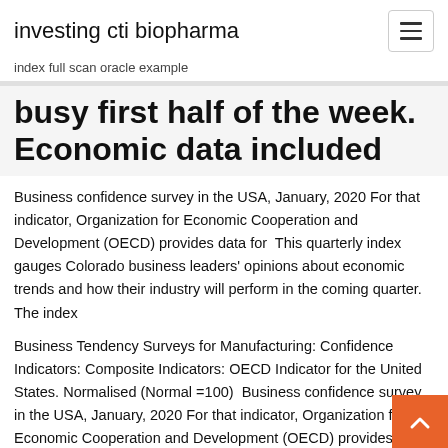investing cti biopharma
index full scan oracle example
busy first half of the week. Economic data included
Business confidence survey in the USA, January, 2020 For that indicator, Organization for Economic Cooperation and Development (OECD) provides data for  This quarterly index gauges Colorado business leaders' opinions about economic trends and how their industry will perform in the coming quarter. The index
Business Tendency Surveys for Manufacturing: Confidence Indicators: Composite Indicators: OECD Indicator for the United States. Normalised (Normal =100)  Business confidence survey in the USA, January, 2020 For that indicator, Organization for Economic Cooperation and Development (OECD) provides data for This quarterly index gauges Colorado business leaders